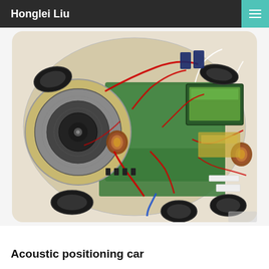Honglei Liu
[Figure (photo): Top-down view of an acoustic positioning car — an electronics project with a large circular speaker on the left, a green circuit board (PCB) in the center, red wiring throughout, inductors/coils, an LCD display module on the upper right, and four wheels visible at corners.]
Acoustic positioning car